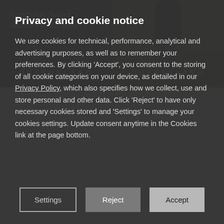[Figure (photo): Two side-by-side images. Left: dark background with cursive text 'Australian Native Animals in the wild' and bold 'QUEENSLAND' below. Right: photo of an emu's legs on green grass with bold 'QUEENSLAND' below.]
Privacy and cookie notice
We use cookies for technical, performance, analytical and advertising purposes, as well as to remember your preferences. By clicking 'Accept', you consent to the storing of all cookie categories on your device, as detailed in our Privacy Policy, which also specifies how we collect, use and store personal and other data. Click 'Reject' to have only necessary cookies stored and 'Settings' to manage your cookies settings. Update consent anytime in the Cookies link at the page bottom.